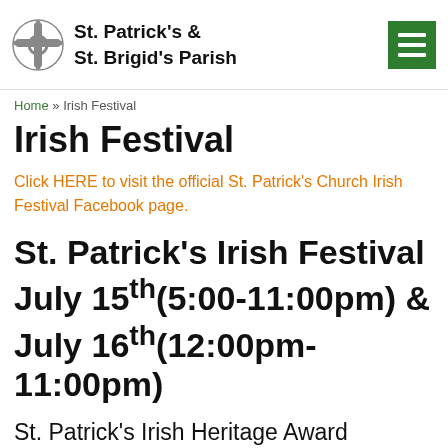St. Patrick's & St. Brigid's Parish
Home » Irish Festival
Irish Festival
Click HERE to visit the official St. Patrick's Church Irish Festival Facebook page.
St. Patrick's Irish Festival July 15th(5:00-11:00pm) & July 16th(12:00pm-11:00pm)
St. Patrick's Irish Heritage Award Winners